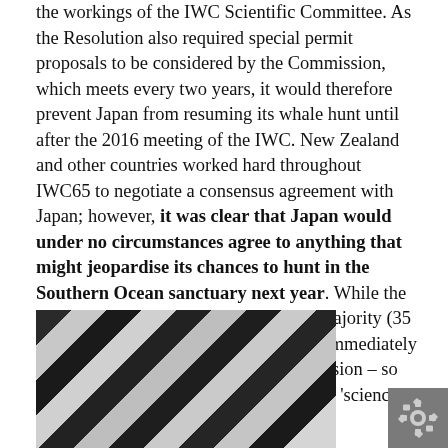the workings of the IWC Scientific Committee. As the Resolution also required special permit proposals to be considered by the Commission, which meets every two years, it would therefore prevent Japan from resuming its whale hunt until after the 2016 meeting of the IWC. New Zealand and other countries worked hard throughout IWC65 to negotiate a consensus agreement with Japan; however, it was clear that Japan would under no circumstances agree to anything that might jeopardise its chances to hunt in the Southern Ocean sanctuary next year. While the Resolution passed with a comfortable majority (35 votes in favour, just 20 against), Japan immediately stated it would not be bound by the decision – so it's business as usual for Japan's whaling 'science'.
[Figure (photo): Close-up photograph of what appears to be striped or ribbed material in dark and light tones, possibly whale-related imagery]